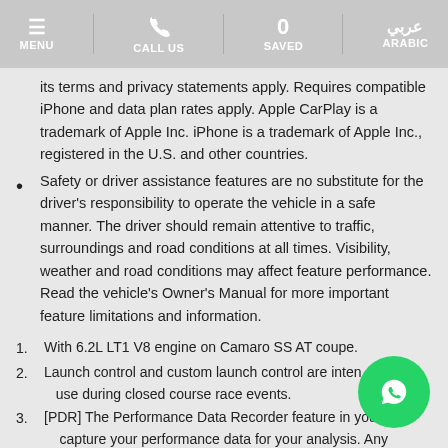MENU | CALL US | 0 SAVED | ARABIC
its terms and privacy statements apply. Requires compatible iPhone and data plan rates apply. Apple CarPlay is a trademark of Apple Inc. iPhone is a trademark of Apple Inc., registered in the U.S. and other countries.
Safety or driver assistance features are no substitute for the driver's responsibility to operate the vehicle in a safe manner. The driver should remain attentive to traffic, surroundings and road conditions at all times. Visibility, weather and road conditions may affect feature performance. Read the vehicle's Owner's Manual for more important feature limitations and information.
1. With 6.2L LT1 V8 engine on Camaro SS AT coupe.
2. Launch control and custom launch control are intended for use during closed course race events.
3. [PDR] The Performance Data Recorder feature in your car capture your performance data for your analysis. Any display or social posting of these recordings are subject to your local rules and regulations, including but not limited to Privacy